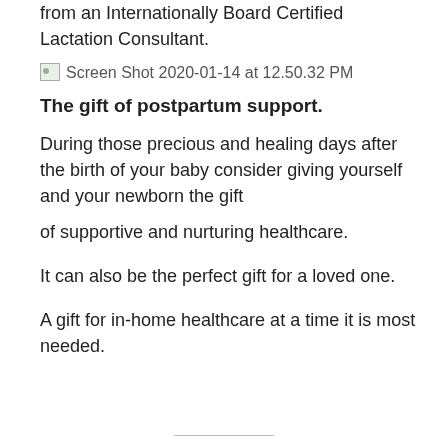from an Internationally Board Certified Lactation Consultant.
[Figure (screenshot): Broken image icon with label: Screen Shot 2020-01-14 at 12.50.32 PM]
The gift of postpartum support.
During those precious and healing days after the birth of your baby consider giving yourself and your newborn the gift
of supportive and nurturing healthcare.
It can also be the perfect gift for a loved one.
A gift for in-home healthcare at a time it is most needed.